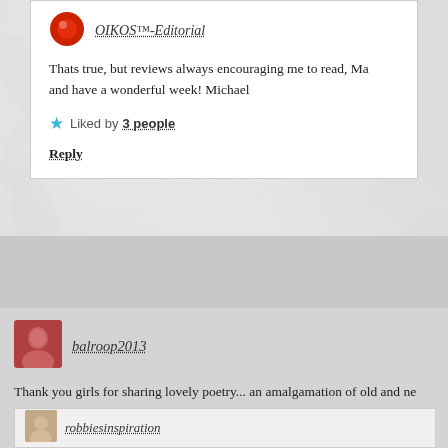OIKOS™-Editorial
Thats true, but reviews always encouraging me to read, Ma and have a wonderful week! Michael
Liked by 3 people
Reply
balroop2013
Thank you girls for sharing lovely poetry... an amalgamation of old and new addition Robbie, I like it.
Liked by 3 people
Reply
robbiesinspiration